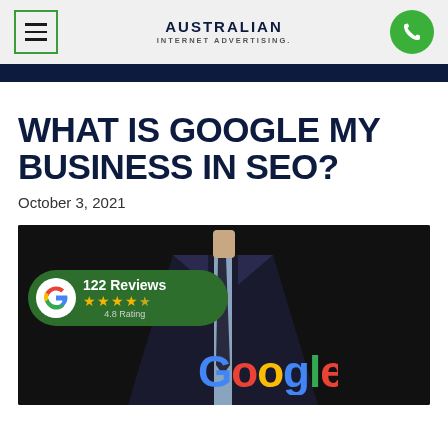Australian Internet Advertising
WHAT IS GOOGLE MY BUSINESS IN SEO?
October 3, 2021
[Figure (photo): Man in dark suit with tie, Google logo visible at bottom, overlaid with a Google Reviews badge showing 122 Reviews, 4.8 Rating with star rating]